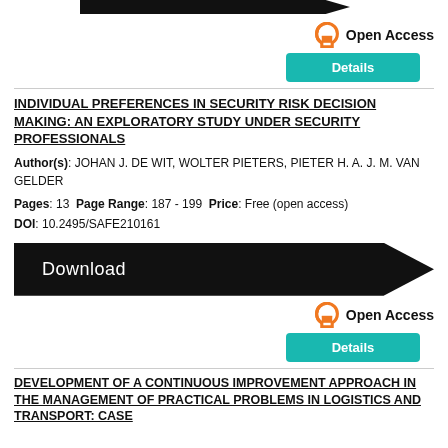[Figure (other): Black arrow/chevron download button partially visible at top]
Open Access
Details
INDIVIDUAL PREFERENCES IN SECURITY RISK DECISION MAKING: AN EXPLORATORY STUDY UNDER SECURITY PROFESSIONALS
Author(s): JOHAN J. DE WIT, WOLTER PIETERS, PIETER H. A. J. M. VAN GELDER
Pages: 13  Page Range: 187 - 199  Price: Free (open access)
DOI: 10.2495/SAFE210161
[Figure (other): Black chevron/arrow shaped Download button]
Open Access
Details
DEVELOPMENT OF A CONTINUOUS IMPROVEMENT APPROACH IN THE MANAGEMENT OF PRACTICAL PROBLEMS IN LOGISTICS AND TRANSPORT: CASE